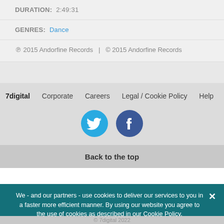DURATION: 2:49:31
GENRES: Dance
℗ 2015 Andorfine Records | © 2015 Andorfine Records
7digital  Corporate  Careers  Legal / Cookie Policy  Help
[Figure (other): Twitter and Facebook social media icon circles]
Back to the top
We - and our partners - use cookies to deliver our services to you in a faster more efficient manner. By using our website you agree to the use of cookies as described in our Cookie Policy.
© 7digital 2022